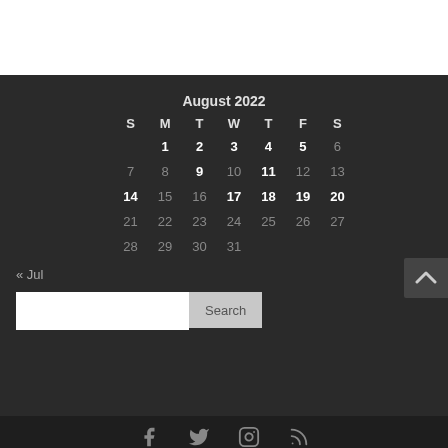| S | M | T | W | T | F | S |
| --- | --- | --- | --- | --- | --- | --- |
|  | 1 | 2 | 3 | 4 | 5 | 6 |
| 7 | 8 | 9 | 10 | 11 | 12 | 13 |
| 14 | 15 | 16 | 17 | 18 | 19 | 20 |
| 21 | 22 | 23 | 24 | 25 | 26 | 27 |
| 28 | 29 | 30 | 31 |  |  |  |
« Jul
Search